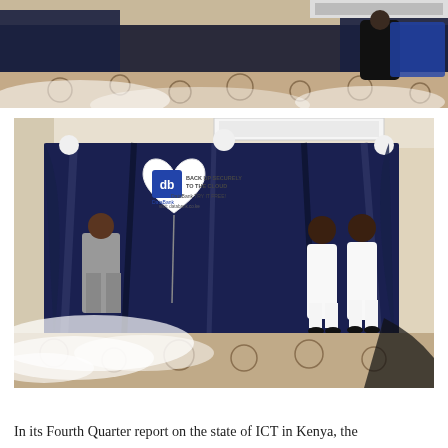[Figure (photo): Top portion of an event photo showing a dark scene with smoke/dry ice effects and people in formal attire, partially cropped.]
[Figure (photo): Event photo showing a DataBank cloud storage product launch: a large white heart-shaped balloon with DataBank logo reading 'BACK UP SECURELY TO THE CLOUD - TRY IT FREE! visit: databank.co.ke', surrounded by dark navy drapes with smoke/dry ice effects on the floor. A man in a grey suit stands on the left, and two women in white dresses stand on the right.]
In its Fourth Quarter report on the state of ICT in Kenya, the